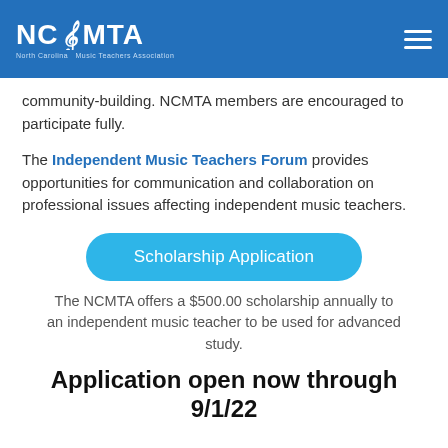NCMTA — North Carolina Music Teachers Association (header navigation bar)
community-building. NCMTA members are encouraged to participate fully.
The Independent Music Teachers Forum provides opportunities for communication and collaboration on professional issues affecting independent music teachers.
[Figure (other): Scholarship Application button — large rounded pill button in bright blue with white text]
The NCMTA offers a $500.00 scholarship annually to an independent music teacher to be used for advanced study.
Application open now through 9/1/22